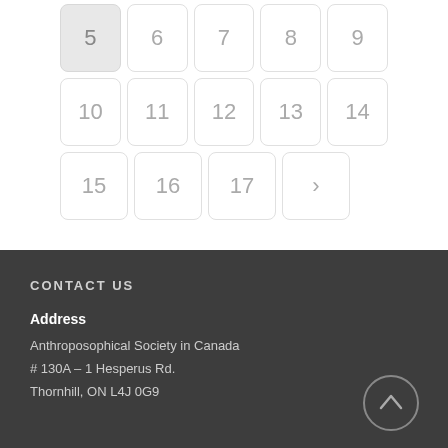[Figure (other): Pagination widget showing numbered page buttons: row 1: 5 (active/highlighted), 6, 7, 8, 9; row 2: 10, 11, 12, 13, 14; row 3: 15, 16, 17, > (next arrow)]
CONTACT US
Address
Anthroposophical Society in Canada
# 130A – 1 Hesperus Rd.
Thornhill, ON L4J 0G9